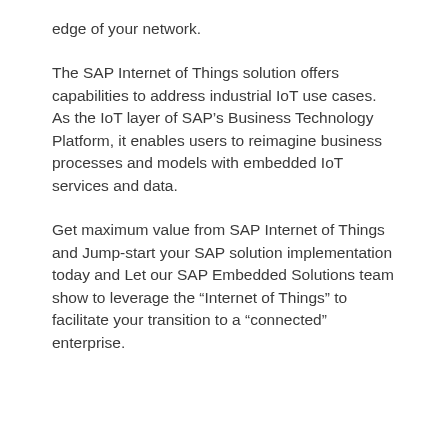edge of your network.
The SAP Internet of Things solution offers capabilities to address industrial IoT use cases. As the IoT layer of SAP’s Business Technology Platform, it enables users to reimagine business processes and models with embedded IoT services and data.
Get maximum value from SAP Internet of Things and Jump-start your SAP solution implementation today and Let our SAP Embedded Solutions team show to leverage the “Internet of Things” to facilitate your transition to a “connected” enterprise.